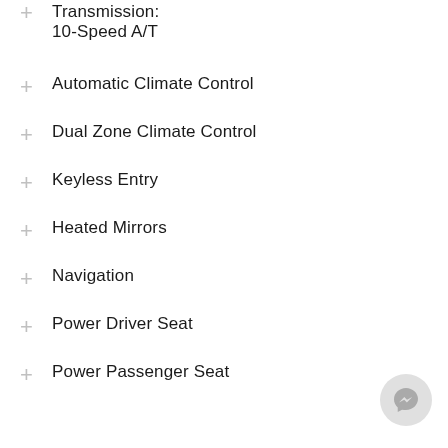Transmission: 10-Speed A/T
Automatic Climate Control
Dual Zone Climate Control
Keyless Entry
Heated Mirrors
Navigation
Power Driver Seat
Power Passenger Seat
Leather Seats
Bucket Seats
Premium Sound System
Satellite Radio
Heated Seats